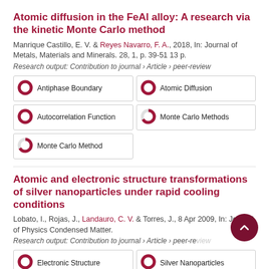Atomic diffusion in the FeAl alloy: A research via the kinetic Monte Carlo method
Manrique Castillo, E. V. & Reyes Navarro, F. A., 2018, In: Journal of Metals, Materials and Minerals. 28, 1, p. 39-51 13 p.
Research output: Contribution to journal › Article › peer-review
[Figure (infographic): Five keyword/topic badges with donut chart icons: Antiphase Boundary (100%), Atomic Diffusion (100%), Autocorrelation Function (100%), Monte Carlo Methods (67%), Monte Carlo Method (67%)]
Atomic and electronic structure transformations of silver nanoparticles under rapid cooling conditions
Lobato, I., Rojas, J., Landauro, C. V. & Torres, J., 8 Apr 2009, In: Journal of Physics Condensed Matter.
Research output: Contribution to journal › Article › peer-review
[Figure (infographic): Two keyword badges visible: Electronic Structure (100%), Silver Nanoparticles (100%)]